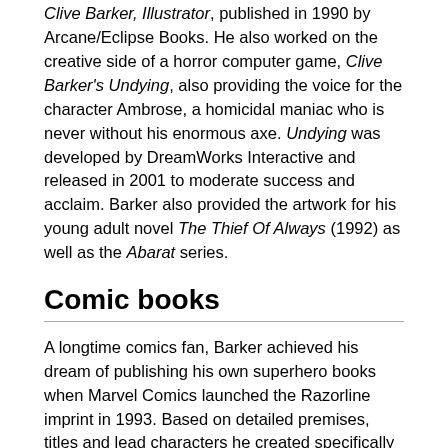Clive Barker, Illustrator, published in 1990 by Arcane/Eclipse Books. He also worked on the creative side of a horror computer game, Clive Barker's Undying, also providing the voice for the character Ambrose, a homicidal maniac who is never without his enormous axe. Undying was developed by DreamWorks Interactive and released in 2001 to moderate success and acclaim. Barker also provided the artwork for his young adult novel The Thief Of Always (1992) as well as the Abarat series.
Comic books
A longtime comics fan, Barker achieved his dream of publishing his own superhero books when Marvel Comics launched the Razorline imprint in 1993. Based on detailed premises, titles and lead characters he created specifically for this, the four interrelated titles — set